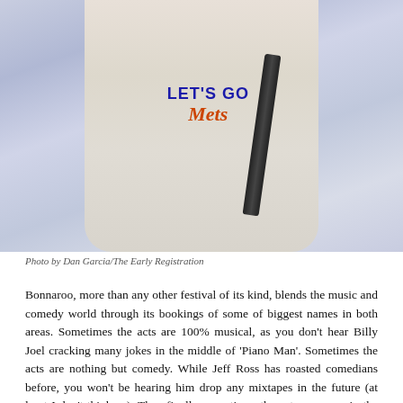[Figure (photo): A person wearing a white 'LET'S GO Mets' tank top with a black bag strap across their chest, standing in front of a light-colored background.]
Photo by Dan Garcia/The Early Registration
Bonnaroo, more than any other festival of its kind, blends the music and comedy world through its bookings of some of biggest names in both areas. Sometimes the acts are 100% musical, as you don't hear Billy Joel cracking many jokes in the middle of 'Piano Man'. Sometimes the acts are nothing but comedy. While Jeff Ross has roasted comedians before, you won't be hearing him drop any mixtapes in the future (at least I don't think so). Then finally, sometimes the acts are more in the middle of the two worlds. Childish Gambino's appearance at Bonnaroo was just about the